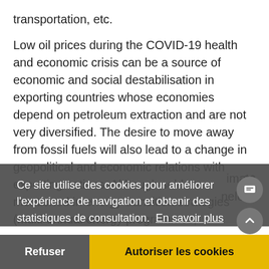transportation, etc.
Low oil prices during the COVID-19 health and economic crisis can be a source of economic and social destabilisation in exporting countries whose economies depend on petroleum extraction and are not very diversified. The desire to move away from fossil fuels will also lead to a change in geopolitical and economic relations with exporting nations. Although seldom mentioned in energy transition strategies (multi-annual energy programmes,
[Figure (screenshot): Cookie consent popup overlay in French. Text: 'Ce site utilise des cookies pour améliorer l'expérience de navigation et obtenir des statistiques de consultation. En savoir plus'. Buttons: 'Refuser' (left, white text on grey) and 'Autoriser les cookies' (right, black text on yellow/gold background).]